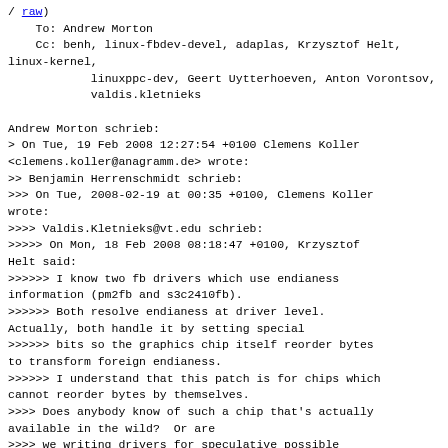/ raw)
    To: Andrew Morton
    Cc: benh, linux-fbdev-devel, adaplas, Krzysztof Helt, linux-kernel,
            linuxppc-dev, Geert Uytterhoeven, Anton Vorontsov,
            valdis.kletnieks

Andrew Morton schrieb:
> On Tue, 19 Feb 2008 12:27:54 +0100 Clemens Koller
<clemens.koller@anagramm.de> wrote:
>> Benjamin Herrenschmidt schrieb:
>>> On Tue, 2008-02-19 at 00:35 +0100, Clemens Koller wrote:
>>>> Valdis.Kletnieks@vt.edu schrieb:
>>>>> On Mon, 18 Feb 2008 08:18:47 +0100, Krzysztof Helt said:
>>>>>> I know two fb drivers which use endianess information (pm2fb and s3c2410fb).
>>>>>> Both resolve endianess at driver level. Actually, both handle it by setting special
>>>>>> bits so the graphics chip itself reorder bytes to transform foreign endianess.
>>>>>> I understand that this patch is for chips which cannot reorder bytes by themselves.
>>>> Does anybody know of such a chip that's actually available in the wild?  Or are
>>>> we writing drivers for speculative possible chips?
>>>>